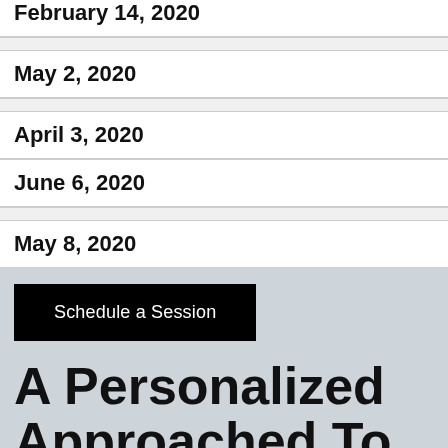| February 14, 2020 |
| May 2, 2020 |
| April 3, 2020 |
| June 6, 2020 |
| May 8, 2020 |
Schedule a Session
A Personalized Approached To SAT Prep
Rather, we at mcstutoring take a more